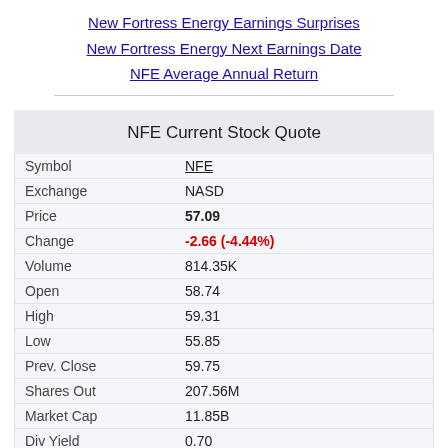New Fortress Energy Earnings Surprises
New Fortress Energy Next Earnings Date
NFE Average Annual Return
NFE Current Stock Quote
|  |  |
| --- | --- |
| Symbol | NFE |
| Exchange | NASD |
| Price | 57.09 |
| Change | -2.66 (-4.44%) |
| Volume | 814.35K |
| Open | 58.74 |
| High | 59.31 |
| Low | 55.85 |
| Prev. Close | 59.75 |
| Shares Out | 207.56M |
| Market Cap | 11.85B |
| Div Yield | 0.70 |
| Ex-Div | 09/06/22 |
Quotes delayed 20 minutes
Free NFE Email Alerts: